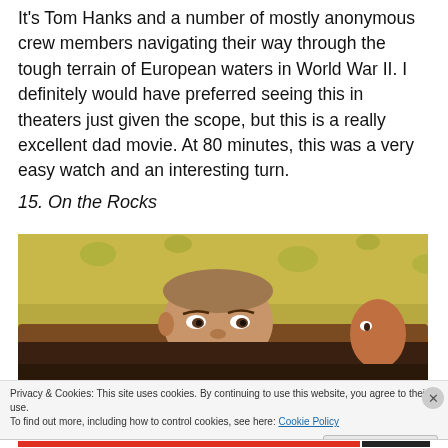It's Tom Hanks and a number of mostly anonymous crew members navigating their way through the tough terrain of European waters in World War II. I definitely would have preferred seeing this in theaters just given the scope, but this is a really excellent dad movie. At 80 minutes, this was a very easy watch and an interesting turn.
15. On the Rocks
[Figure (photo): A still from the movie 'On the Rocks' showing an older man peering over the back of a brown leather couch, with another person partially visible to the right, against a floral wallpaper background.]
Privacy & Cookies: This site uses cookies. By continuing to use this website, you agree to their use.
To find out more, including how to control cookies, see here: Cookie Policy